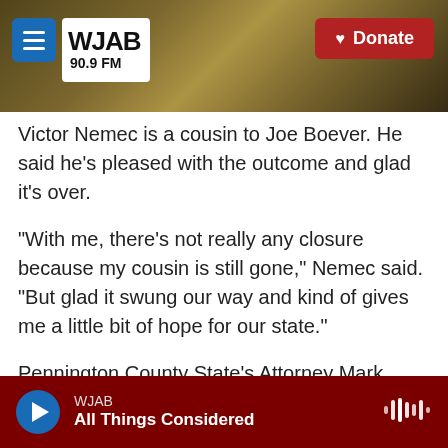[Figure (screenshot): WJAB 90.9 FM radio station header with logo, menu button, and Donate button on a dark metallic background]
Victor Nemec is a cousin to Joe Boever. He said he's pleased with the outcome and glad it's over.
"With me, there's not really any closure because my cousin is still gone," Nemec said. "But glad it swung our way and kind of gives me a little bit of hope for our state."
Pennington County State's Attorney Mark Vargo was the lead prosecutor in the impeachment case for Ravnsborg's removal from office.
Vargo hopes the Senate vote means politicians can
WJAB — All Things Considered